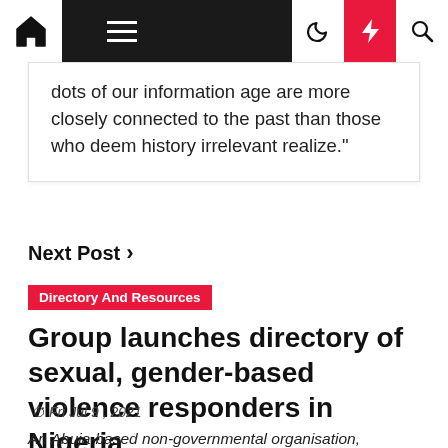Navigation bar with home, menu, moon, lightning, search icons
dots of our information age are more closely connected to the past than those who deem history irrelevant realize."
Next Post >
Directory And Resources
Group launches directory of sexual, gender-based violence responders in Nigeria
Fri Jul 9, 2021
An Abuja-based non-governmental organisation,